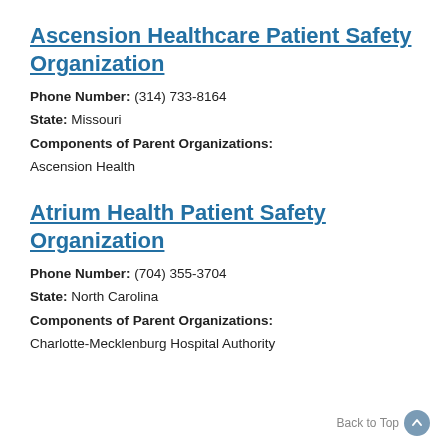Ascension Healthcare Patient Safety Organization
Phone Number: (314) 733-8164
State: Missouri
Components of Parent Organizations:
Ascension Health
Atrium Health Patient Safety Organization
Phone Number: (704) 355-3704
State: North Carolina
Components of Parent Organizations:
Charlotte-Mecklenburg Hospital Authority